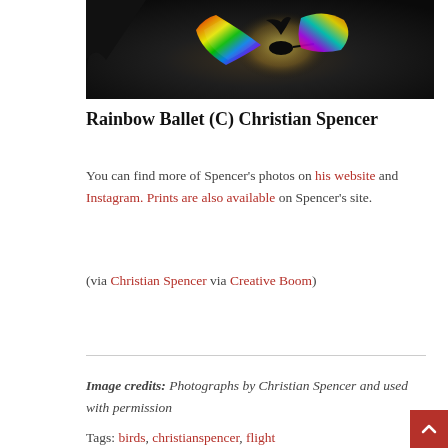[Figure (photo): Dark photograph of a hummingbird in flight with iridescent rainbow-colored wing feathers against a black background]
Rainbow Ballet (C) Christian Spencer
You can find more of Spencer's photos on his website and Instagram. Prints are also available on Spencer's site.
(via Christian Spencer via Creative Boom)
Image credits: Photographs by Christian Spencer and used with permission
Tags: birds, christianspencer, flight